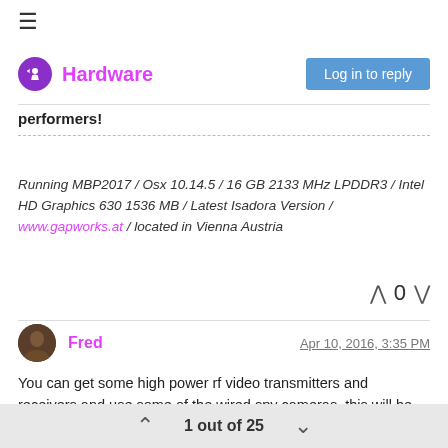≡ Hardware | Log in to reply
performers!
Running MBP2017 / Osx 10.14.5 / 16 GB 2133 MHz LPDDR3 / Intel HD Graphics 630 1536 MB / Latest Isadora Version / www.gapworks.at / located in Vienna Austria
0
Fred
Apr 10, 2016, 3:35 PM
You can get some high power rf video transmitters and receivers and use some of the wired spy cameras, this will be bigger but in separate parts- the camera bit can be quite tiny but then the transmitter and battery will have to be hidden somewhere. The quality is pretty low too and RF gets a lot of interference. Rf units like this are tiny but the image quality is bad, aesthetically if you need to work with low res, dropouts
1 out of 25